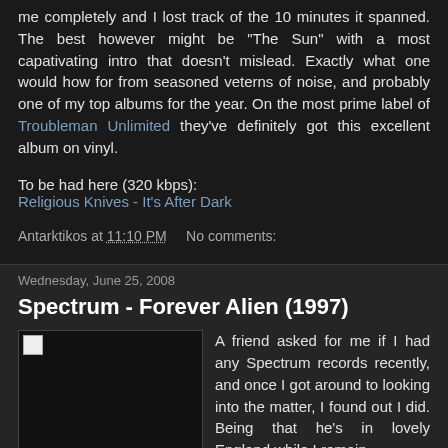me completely and I lost track of the 10 minutes it spanned. The best however might be "The Sun" with a most capativating intro that doesn't mislead. Exactly what one would how for from seasoned veterns of noise, and probably one of my top albums for the year. On the most prime label of Troubleman Unlimited they've definitely got this excellent album on vinyl.
To be had here (320 kbps):
Religious Knives - It's After Dark
Antarktikos at 11:10 PM   No comments:
Wednesday, June 25, 2008
Spectrum - Forever Alien (1997)
[Figure (photo): Album cover image placeholder]
A friend asked for me if I had any Spectrum records recently, and once I got around to looking into the matter, I found out I did. Being that he's in lovely England while I remain